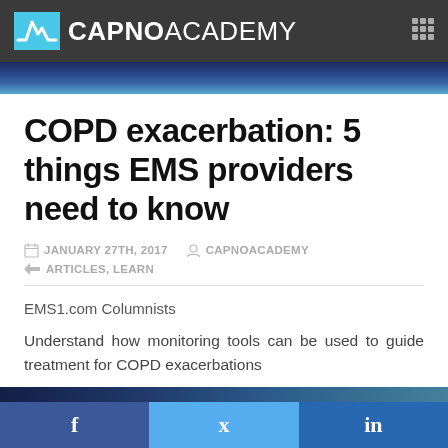CAPNO ACADEMY
COPD exacerbation: 5 things EMS providers need to know
JANUARY 27TH, 2017   CAPNOACADEMY
ARTICLES, LEARN
EMS1.com Columnists
Understand how monitoring tools can be used to guide treatment for COPD exacerbations